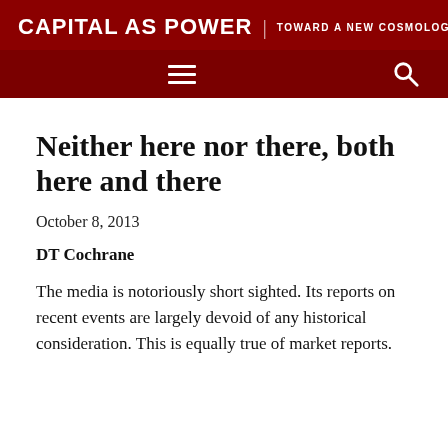CAPITAL AS POWER | TOWARD A NEW COSMOLOGY OF CAPITALISM
Neither here nor there, both here and there
October 8, 2013
DT Cochrane
The media is notoriously short sighted. Its reports on recent events are largely devoid of any historical consideration. This is equally true of market reports.